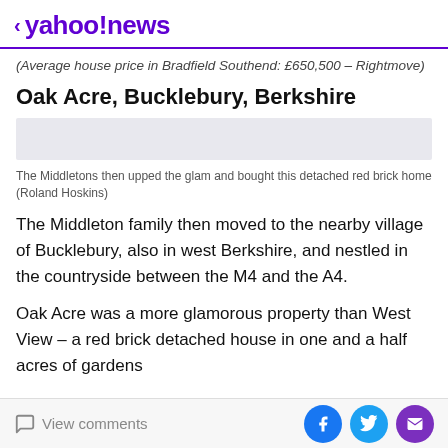< yahoo!news
(Average house price in Bradfield Southend: £650,500 – Rightmove)
Oak Acre, Bucklebury, Berkshire
[Figure (photo): Image of Oak Acre property - light grey placeholder]
The Middletons then upped the glam and bought this detached red brick home (Roland Hoskins)
The Middleton family then moved to the nearby village of Bucklebury, also in west Berkshire, and nestled in the countryside between the M4 and the A4.
Oak Acre was a more glamorous property than West View – a red brick detached house in one and a half acres of gardens
View comments